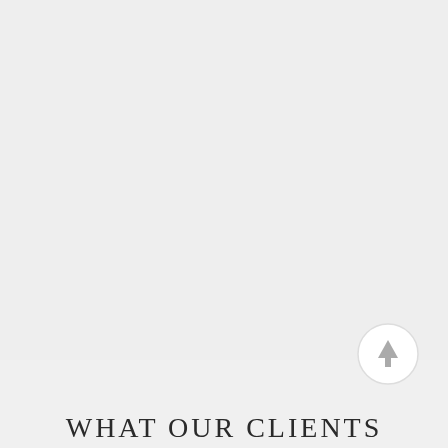[Figure (other): Circular scroll-to-top button with an upward arrow icon, light grey circle with grey arrow]
WHAT OUR CLIENTS